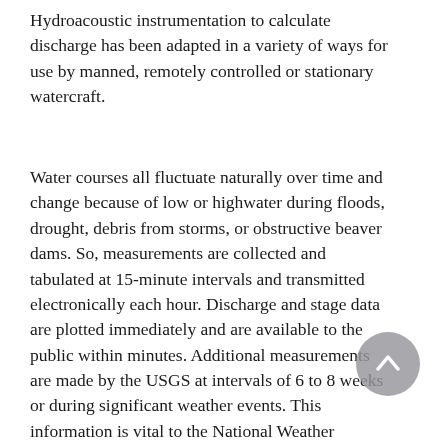Hydroacoustic instrumentation to calculate discharge has been adapted in a variety of ways for use by manned, remotely controlled or stationary watercraft.
Water courses all fluctuate naturally over time and change because of low or highwater during floods, drought, debris from storms, or obstructive beaver dams. So, measurements are collected and tabulated at 15-minute intervals and transmitted electronically each hour. Discharge and stage data are plotted immediately and are available to the public within minutes. Additional measurements are made by the USGS at intervals of 6 to 8 weeks or during significant weather events. This information is vital to the National Weather Service, the Army Corps of Engineers, climatologists and a host of